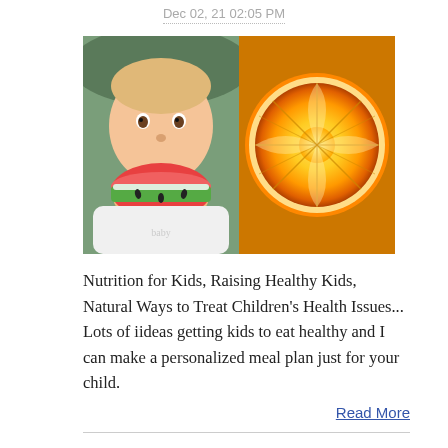Dec 02, 21 02:05 PM
[Figure (photo): Composite image: left half shows a baby eating watermelon, right half shows a sliced orange]
Nutrition for Kids, Raising Healthy Kids, Natural Ways to Treat Children's Health Issues... Lots of iideas getting kids to eat healthy and I can make a personalized meal plan just for your child.
Read More
Hi
Dec 02, 20 05:02 AM